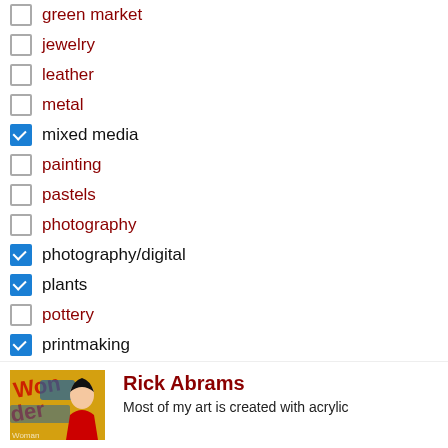☐ green market
☐ jewelry
☐ leather
☐ metal
☑ mixed media
☐ painting
☐ pastels
☐ photography
☑ photography/digital
☑ plants
☐ pottery
☑ printmaking
☐ printmaking drawing
☐ sculpture
☑ soaps & lotions
☐ stone
☐ wood
Rick Abrams
Most of my art is created with acrylic